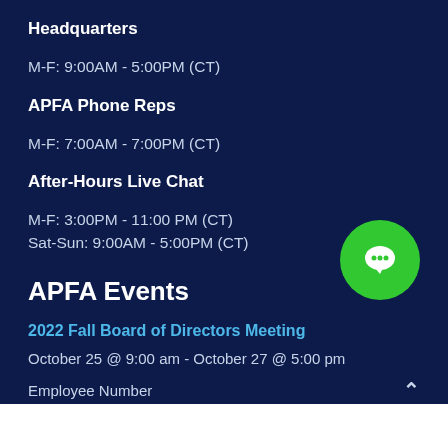Headquarters
M-F: 9:00AM - 5:00PM (CT)
APFA Phone Reps
M-F: 7:00AM - 7:00PM (CT)
After-Hours Live Chat
M-F: 3:00PM - 11:00 PM (CT)
Sat-Sun: 9:00AM - 5:00PM (CT)
APFA Events
2022 Fall Board of Directors Meeting
October 25 @ 9:00 am - October 27 @ 5:00 pm
Employee Number